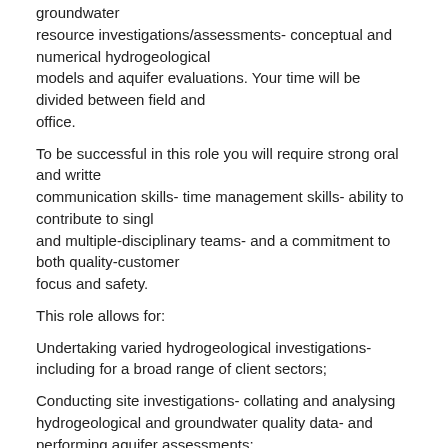groundwater resource investigations/assessments- conceptual and numerical hydrogeological models and aquifer evaluations. Your time will be divided between field and office.
To be successful in this role you will require strong oral and writte communication skills- time management skills- ability to contribute to singl and multiple-disciplinary teams- and a commitment to both quality- customer focus and safety.
This role allows for:
Undertaking varied hydrogeological investigations- including for a broad range of client sectors;
Conducting site investigations- collating and analysing hydrogeological and groundwater quality data- and performing aquifer assessments;
Managing field and office tasks- with an emphasis on health and safety;
Preparation of factual and interpretative hydrogeological reports;
Developing and maintaining groundwater databases;
Project management.